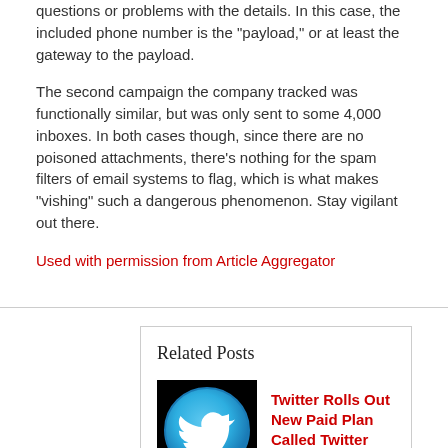questions or problems with the details. In this case, the included phone number is the "payload," or at least the gateway to the payload.
The second campaign the company tracked was functionally similar, but was only sent to some 4,000 inboxes. In both cases though, since there are no poisoned attachments, there's nothing for the spam filters of email systems to flag, which is what makes "vishing" such a dangerous phenomenon. Stay vigilant out there.
Used with permission from Article Aggregator
Related Posts
Twitter Rolls Out New Paid Plan Called Twitter Blue
[Figure (logo): Twitter bird logo icon on dark background, circular blue gradient]